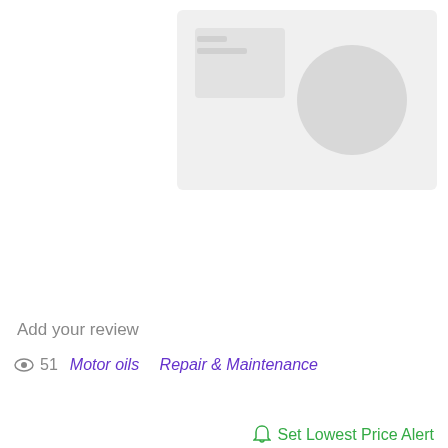[Figure (photo): Product image placeholder with grey background, small rectangle and circle shapes indicating a missing/loading product photo]
Add your review
👁 51   Motor oils   Repair & Maintenance
Set Lowest Price Alert